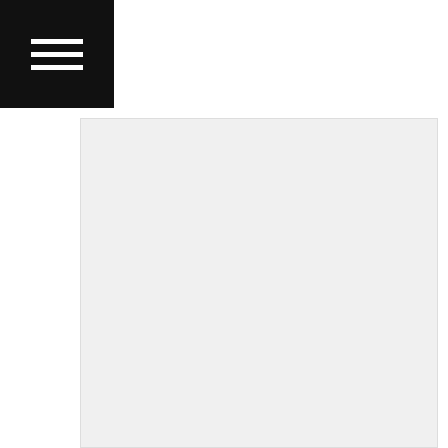[Figure (photo): Large image placeholder with light grey background, showing an article image for I-League article]
I-League : Will it retain its Position as the Most Important Domestic Event ??
The clubs are likely to oppose this move as it would mean lesser playing time for them and it is not likely that the clubs would release their players for such a franchise based event. An AIFF backed event is most likely toAi?? succeed, unlike the PLS, but it needs to be properly planned and it should not cut down the matches in I-League which is still the best way to assess the quality of a